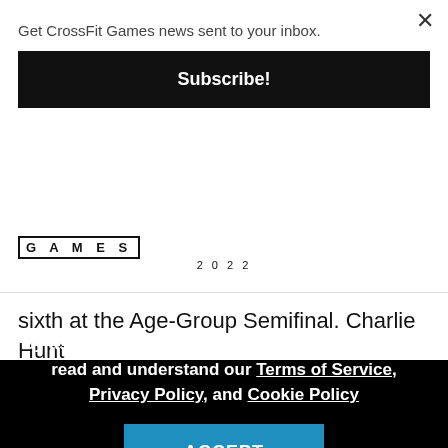Get CrossFit Games news sent to your inbox.
Subscribe!
[Figure (logo): CrossFit Games 2022 logo with 'GAMES' text in bordered box and '2022' below]
sixth at the Age-Group Semifinal. Charlie Hunt
By using our site, you acknowledge that you have read and understand our Terms of Service, Privacy Policy, and Cookie Policy
ACCEPT